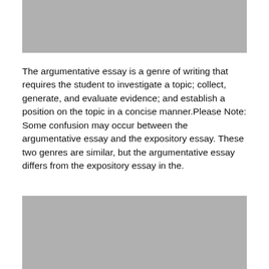[Figure (other): Gray placeholder block at top of page]
The argumentative essay is a genre of writing that requires the student to investigate a topic; collect, generate, and evaluate evidence; and establish a position on the topic in a concise manner.Please Note: Some confusion may occur between the argumentative essay and the expository essay. These two genres are similar, but the argumentative essay differs from the expository essay in the.
[Figure (other): Gray placeholder block at bottom of page]